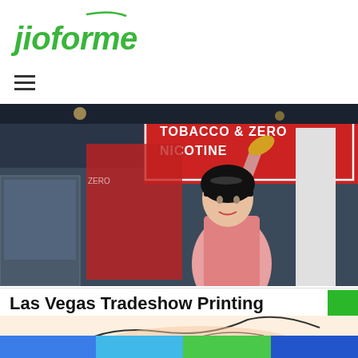[Figure (logo): jioforme logo in green italic/bold text]
[Figure (photo): Trade show booth photo showing a woman raising her arm at a booth with red signage reading 'TOBACCO & ZERO NICOTINE']
Las Vegas Tradeshow Printing
Step and Repeat Las Vegas | Sponsored
[Figure (illustration): Partial illustration of a cartoon/anime-style character, cropped, with a green square box on the right side]
[Figure (infographic): Bottom color strip with four colored segments: blue, sky blue, green, dark blue]